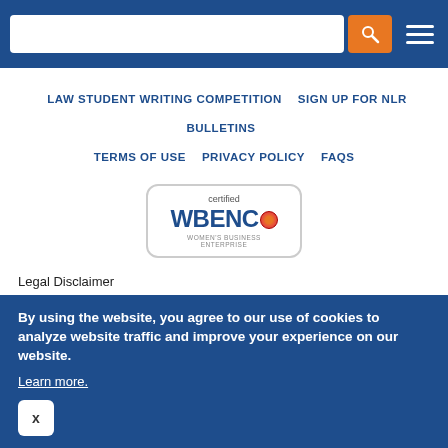Search bar and navigation header with orange search button and hamburger menu
LAW STUDENT WRITING COMPETITION   SIGN UP FOR NLR BULLETINS   TERMS OF USE   PRIVACY POLICY   FAQS
[Figure (logo): Certified WBENC Women's Business Enterprise badge]
Legal Disclaimer
You are responsible for reading, understanding and agreeing to the National Law Review's (NLR's) and the National Law Forum LLC's Terms of Use and Privacy Policy before using the National Law Review website. The National Law Review is a free to use, no-log in database of legal and business articles. The content and links on www.NatLawReview.com are intended for general information purposes only. Any legal analysis, legislative updates or other content and links should not be construed as legal or professional advice or a
By using the website, you agree to our use of cookies to analyze website traffic and improve your experience on our website.
Learn more.
X